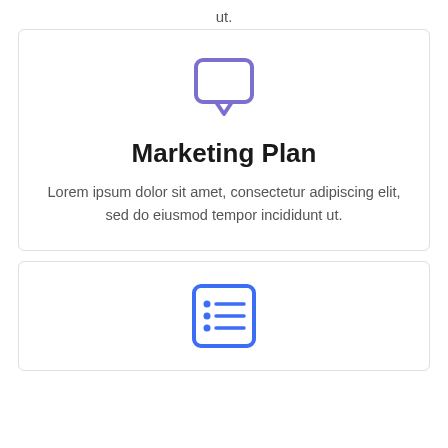ut.
[Figure (illustration): Purple speech bubble / chat icon outline]
Marketing Plan
Lorem ipsum dolor sit amet, consectetur adipiscing elit, sed do eiusmod tempor incididunt ut.
[Figure (illustration): Blue list/checklist icon with bullet points]